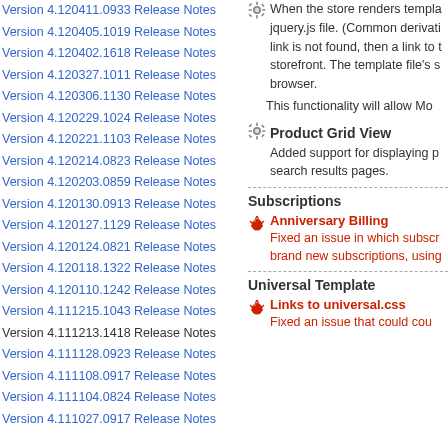Version 4.120411.0933 Release Notes
Version 4.120405.1019 Release Notes
Version 4.120402.1618 Release Notes
Version 4.120327.1011 Release Notes
Version 4.120306.1130 Release Notes
Version 4.120229.1024 Release Notes
Version 4.120221.1103 Release Notes
Version 4.120214.0823 Release Notes
Version 4.120203.0859 Release Notes
Version 4.120130.0913 Release Notes
Version 4.120127.1129 Release Notes
Version 4.120124.0821 Release Notes
Version 4.120118.1322 Release Notes
Version 4.120110.1242 Release Notes
Version 4.111215.1043 Release Notes
Version 4.111213.1418 Release Notes
Version 4.111128.0923 Release Notes
Version 4.111108.0917 Release Notes
Version 4.111104.0824 Release Notes
Version 4.111027.0917 Release Notes
When the store renders templa... jquery.js file. (Common derivati... link is not found, then a link to t... storefront. The template file's s... browser.
This functionality will allow Mo...
Product Grid View
Added support for displaying p... search results pages.
Subscriptions
Anniversary Billing
Fixed an issue in which subscr... brand new subscriptions, using...
Universal Template
Links to universal.css
Fixed an issue that could cou...